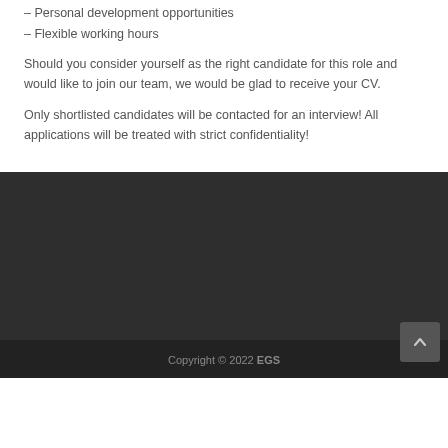– Personal development opportunities
– Flexible working hours
Should you consider yourself as the right candidate for this role and would like to join our team, we would be glad to receive your CV.
Only shortlisted candidates will be contacted for an interview! All applications will be treated with strict confidentiality!
Copyright © 2022 EGS